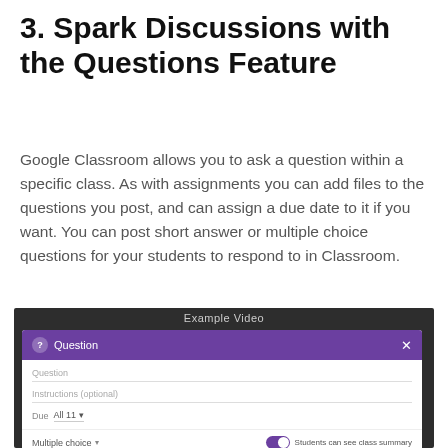3. Spark Discussions with the Questions Feature
Google Classroom allows you to ask a question within a specific class. As with assignments you can add files to the questions you post, and can assign a due date to it if you want. You can post short answer or multiple choice questions for your students to respond to in Classroom.
[Figure (screenshot): Screenshot of Google Classroom Question dialog box with purple header, fields for Question, Instructions (optional), Due date set to All 11, Multiple choice dropdown, and a Students can see class summary toggle switch enabled.]